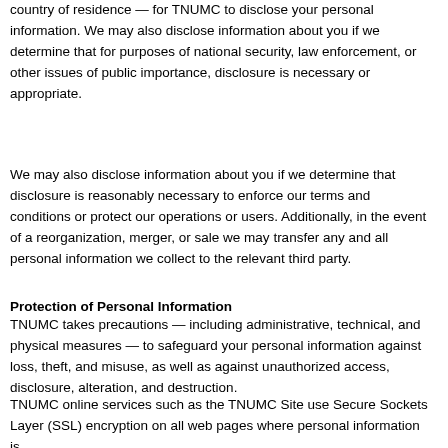country of residence — for TNUMC to disclose your personal information. We may also disclose information about you if we determine that for purposes of national security, law enforcement, or other issues of public importance, disclosure is necessary or appropriate.
We may also disclose information about you if we determine that disclosure is reasonably necessary to enforce our terms and conditions or protect our operations or users. Additionally, in the event of a reorganization, merger, or sale we may transfer any and all personal information we collect to the relevant third party.
Protection of Personal Information
TNUMC takes precautions — including administrative, technical, and physical measures — to safeguard your personal information against loss, theft, and misuse, as well as against unauthorized access, disclosure, alteration, and destruction.
TNUMC online services such as the TNUMC Site use Secure Sockets Layer (SSL) encryption on all web pages where personal information is